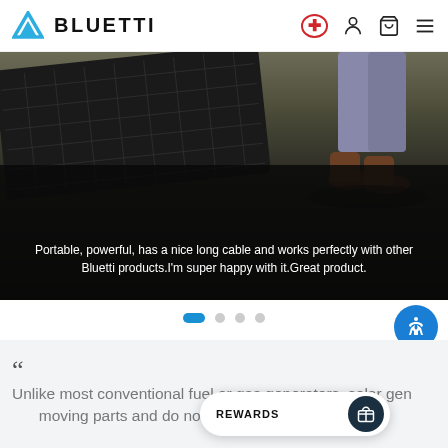BLUETTI
[Figure (photo): Person standing next to a portable solar panel on gravel ground, with dark overlay text below.]
Portable, powerful, has a nice long cable and works perfectly with other Bluetti products.I'm super happy with it.Great product.
[Figure (other): Carousel pagination dots: one active blue pill followed by three grey circles. Accessibility icon button (blue circle with person icon). Back-to-top arrow button (light grey circle).]
““ Unlike most conventional fuel or gas generators, solar gen moving parts and do not use liquid